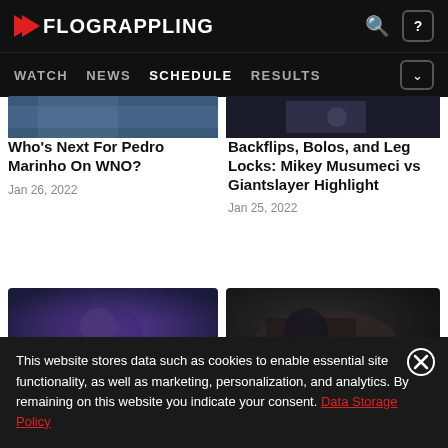FLOGRAPPLING — WATCH NEWS SCHEDULE RESULTS
[Figure (screenshot): Partial sports article thumbnail images at top]
Who's Next For Pedro Marinho On WNO?
Jan 26, 2022
Backflips, Bolos, and Leg Locks: Mikey Musumeci vs Giantslayer Highlight
Jan 25, 2022
[Figure (photo): Two sports article thumbnail photos — left: person smiling with headset in blue-lit arena; right: two athletes grappling in dark setting]
This website stores data such as cookies to enable essential site functionality, as well as marketing, personalization, and analytics. By remaining on this website you indicate your consent. Data Storage Policy